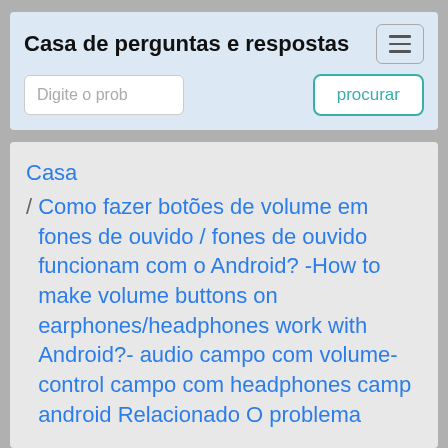Casa de perguntas e respostas
Digite o prob
procurar
Casa
/ Como fazer botões de volume em fones de ouvido / fones de ouvido funcionam com o Android? -How to make volume buttons on earphones/headphones work with Android?- audio campo com volume-control campo com headphones camp android Relacionado O problema